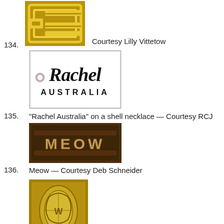[Figure (photo): Close-up photo of a gold-colored jewelry mark or seal with geometric maze-like pattern]
134. Courtesy Lilly Vittetow
[Figure (photo): Tag reading 'Rachel AUSTRALIA' in cursive script on white background, with small ring hole at left]
135. "Rachel Australia" on a shell necklace — Courtesy RCJ
[Figure (photo): Close-up photo of a jewelry mark reading 'Meow' in metallic letters with reddish tones]
136. Meow — Courtesy Deb Schneider
[Figure (photo): Close-up photo of a gold-colored jewelry mark or logo for Fish Enterprises showing stylized letters]
137. Updated: Fish Enterprises. Manufacturers of maker of cloisonne and other fine enamel costume jewelry. Information courtesy of Cheryl P…